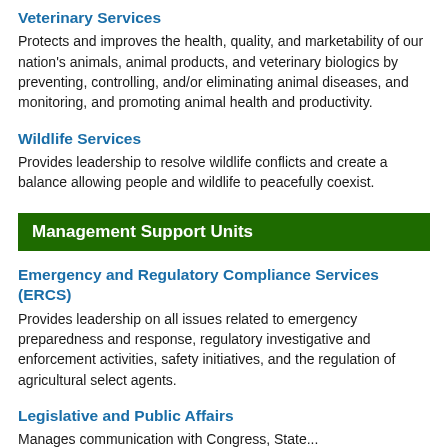Veterinary Services
Protects and improves the health, quality, and marketability of our nation's animals, animal products, and veterinary biologics by preventing, controlling, and/or eliminating animal diseases, and monitoring, and promoting animal health and productivity.
Wildlife Services
Provides leadership to resolve wildlife conflicts and create a balance allowing people and wildlife to peacefully coexist.
Management Support Units
Emergency and Regulatory Compliance Services (ERCS)
Provides leadership on all issues related to emergency preparedness and response, regulatory investigative and enforcement activities, safety initiatives, and the regulation of agricultural select agents.
Legislative and Public Affairs
Manages communication with Congress, State...